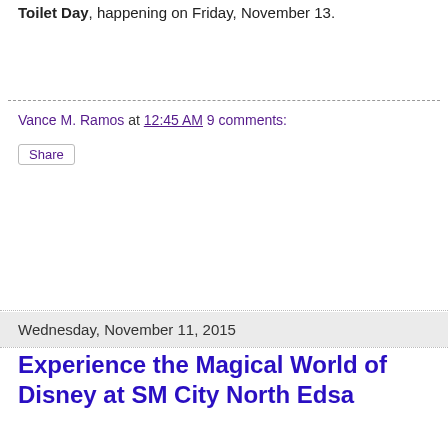Toilet Day, happening on Friday, November 13.
Vance M. Ramos at 12:45 AM    9 comments:
Share
Wednesday, November 11, 2015
Experience the Magical World of Disney at SM City North Edsa
[Figure (photo): Disney promotional banner showing Mickey Mouse and friends in Christmas costumes on a red background with text 'Tis the Season of Magic, November 6 to January 10' and Disney logo]
SM City North Edsa ushers in the holiday season with the